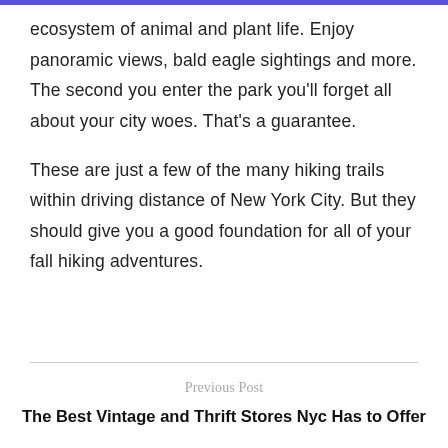ecosystem of animal and plant life. Enjoy panoramic views, bald eagle sightings and more. The second you enter the park you'll forget all about your city woes. That's a guarantee.

These are just a few of the many hiking trails within driving distance of New York City. But they should give you a good foundation for all of your fall hiking adventures.
Previous Post
The Best Vintage and Thrift Stores Nyc Has to Offer